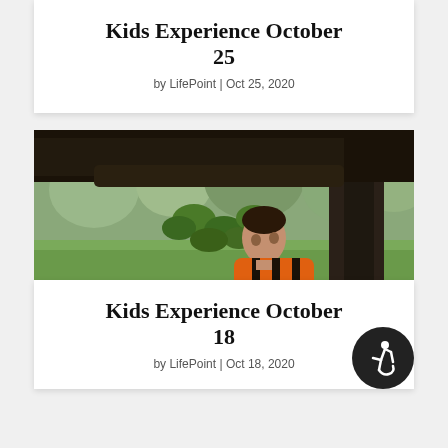Kids Experience October 25
by LifePoint | Oct 25, 2020
[Figure (photo): A young boy wearing an orange pumpkin Halloween costume, standing under a large tree with green leaves, with a grassy park background]
Kids Experience October 18
by LifePoint | Oct 18, 2020